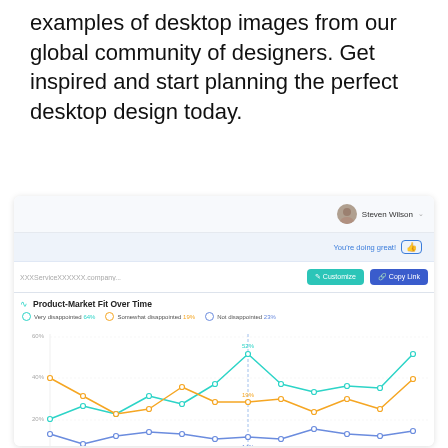examples of desktop images from our global community of designers. Get inspired and start planning the perfect desktop design today.
[Figure (screenshot): Screenshot of a web app dashboard showing a 'Product-Market Fit Over Time' line chart with three series: Very disappointed, Somewhat disappointed, and Not disappointed, with month labels Jan through Dec on x-axis and percentage values on y-axis. UI includes a nav bar with user avatar (Steven Wilson), a thumbs-up encouragement bar, a URL bar with Customize and Copy Link buttons.]